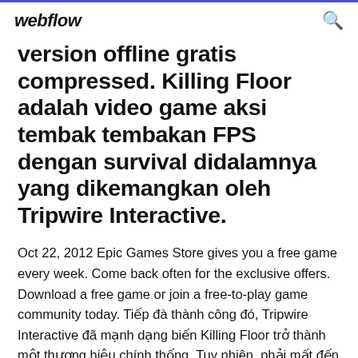webflow
version offline gratis compressed. Killing Floor adalah video game aksi tembak tembakan FPS dengan survival didalamnya yang dikemangkan oleh Tripwire Interactive.
Oct 22, 2012 Epic Games Store gives you a free game every week. Come back often for the exclusive offers. Download a free game or join a free-to-play game community today. Tiếp đà thành công đó, Tripwire Interactive đã mạnh dạng biến Killing Floor trở thành một thương hiệu chính thống. Tuy nhiên, phải mất đến 7